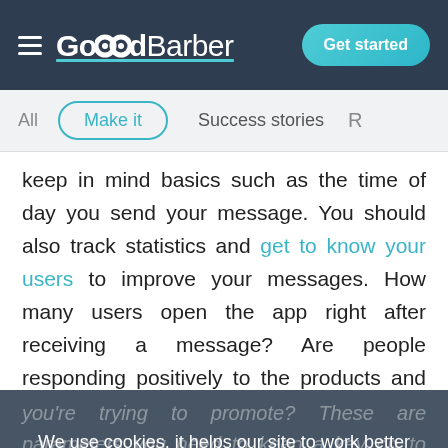GoodBarber — Get started
All  Make it  Success stories  R
keep in mind basics such as the time of day you send your message. You should also track statistics and get to know your users to improve your messages. How many users open the app right after receiving a message? Are people responding positively to the products and services you're trying to promote? These are parameters you need to keep a key on to constantly fine-tune the frequency and the timing of your messages.
We use cookies, it helps our site to work better
OK
Learn more